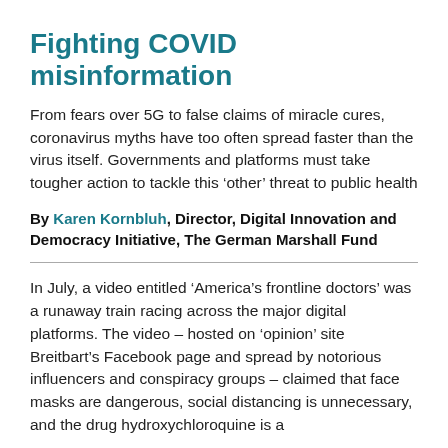Fighting COVID misinformation
From fears over 5G to false claims of miracle cures, coronavirus myths have too often spread faster than the virus itself. Governments and platforms must take tougher action to tackle this ‘other’ threat to public health
By Karen Kornbluh, Director, Digital Innovation and Democracy Initiative, The German Marshall Fund
In July, a video entitled ‘America’s frontline doctors’ was a runaway train racing across the major digital platforms. The video – hosted on ‘opinion’ site Breitbart’s Facebook page and spread by notorious influencers and conspiracy groups – claimed that face masks are dangerous, social distancing is unnecessary, and the drug hydroxychloroquine is a